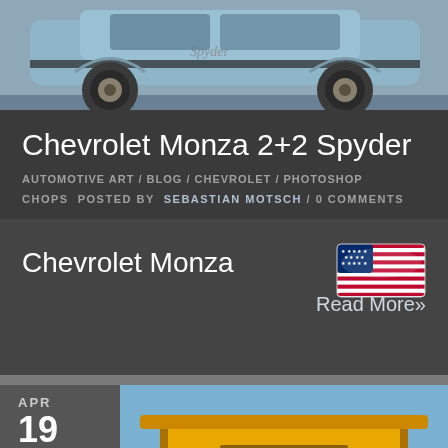[Figure (photo): Side view of a grey/silver concept car (Chevrolet Monza 2+2 Spyder) with wide body, large wheels, and a stripe decal along the door]
Chevrolet Monza 2+2 Spyder
AUTOMOTIVE ART / BLOG / CHEVROLET / PHOTOSHOP
CHOPS  posted by  SEBASTIAN MOTSCH / 0 comments
Chevrolet Monza
[Figure (illustration): American flag icon]
Read More»
[Figure (photo): Rear view of a yellow Lotus Sport car with large rear spoiler, twin exhaust pipes, red taillights, and a UK flag sticker]